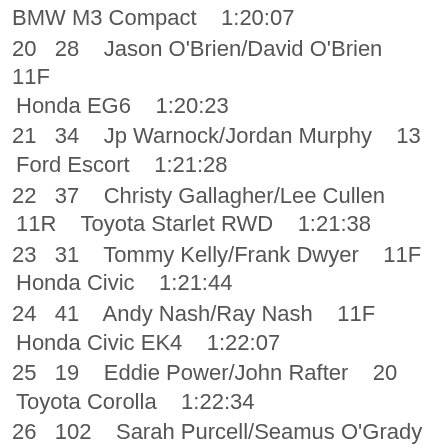BMW M3 Compact   1:20:07
20  28  Jason O'Brien/David O'Brien  11F  Honda EG6  1:20:23
21  34  Jp Warnock/Jordan Murphy  13  Ford Escort  1:21:28
22  37  Christy Gallagher/Lee Cullen  11R  Toyota Starlet RWD  1:21:38
23  31  Tommy Kelly/Frank Dwyer  11F  Honda Civic  1:21:44
24  41  Andy Nash/Ray Nash  11F  Honda Civic EK4  1:22:07
25  19  Eddie Power/John Rafter  20  Toyota Corolla  1:22:34
26  102  Sarah Purcell/Seamus O'Grady  20  Mitsubishi Evo  1:23:08